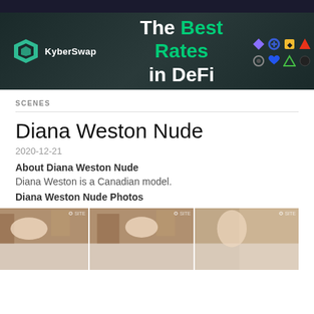[Figure (other): KyberSwap advertisement banner: dark teal background, KyberSwap logo on left, 'The Best Rates in DeFi' text in center (Best Rates in green), crypto token icons on right]
SCENES
Diana Weston Nude
2020-12-21
About Diana Weston Nude
Diana Weston is a Canadian model.
Diana Weston Nude Photos
[Figure (photo): Three side-by-side film stills showing a scene in a bathtub with bubbles]